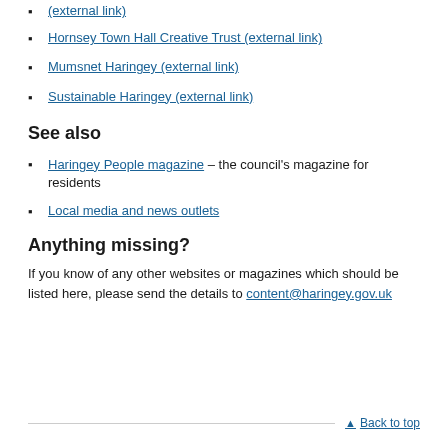(external link)
Hornsey Town Hall Creative Trust (external link)
Mumsnet Haringey (external link)
Sustainable Haringey (external link)
See also
Haringey People magazine - the council's magazine for residents
Local media and news outlets
Anything missing?
If you know of any other websites or magazines which should be listed here, please send the details to content@haringey.gov.uk
Back to top